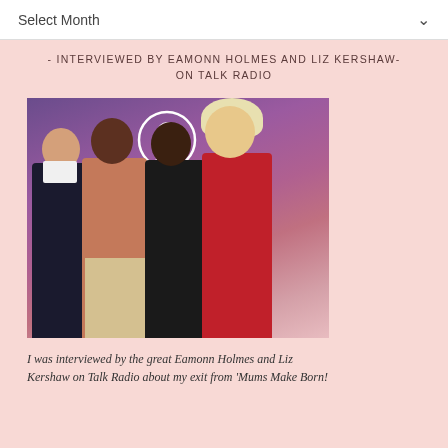Select Month
- INTERVIEWED BY EAMONN HOLMES AND LIZ KERSHAW- ON TALK RADIO
[Figure (photo): Four people posing together in front of a Talk Radio backdrop with microphone logo. From left: a man in a dark suit, a woman in a salmon/rust top with light trousers, a woman in a black outfit, and a woman in a red top with blonde hair. Purple/magenta lighting in background.]
I was interviewed by the great Eamonn Holmes and Liz Kershaw on Talk Radio about my exit from 'Mums Make Born!